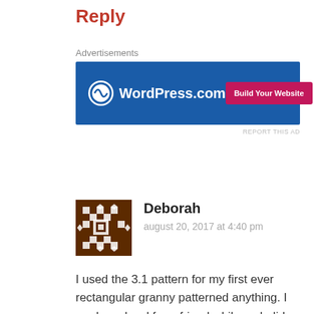Reply
Advertisements
[Figure (other): WordPress.com advertisement banner with blue background, WordPress logo on left, and pink 'Build Your Website' button on right]
REPORT THIS AD
[Figure (other): Avatar image for commenter Deborah - brown geometric pattern avatar]
Deborah
august 20, 2017 at 4:40 pm
I used the 3.1 pattern for my first ever rectangular granny patterned anything. I made a shawl for a friend while on holidays this summer and it turned out beautifully. Making another asap. Thanks for the instructions and the very helpful diagram.
Like